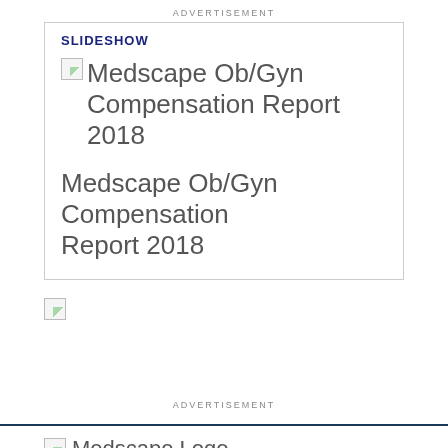ADVERTISEMENT
SLIDESHOW
[Figure (other): Broken image placeholder for Medscape Ob/Gyn Compensation Report 2018 slideshow thumbnail]
Medscape Ob/Gyn Compensation Report 2018
Medscape Ob/Gyn Compensation Report 2018
[Figure (other): Broken image placeholder (small)]
ADVERTISEMENT
[Figure (logo): Medscape Logo (broken image placeholder)]
Medscape Logo